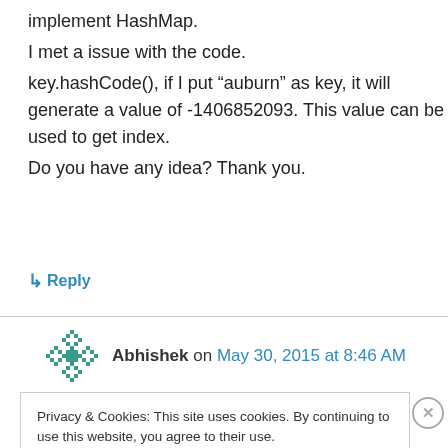implement HashMap.
I met a issue with the code.
key.hashCode(), if I put “auburn” as key, it will generate a value of -1406852093. This value can be used to get index.
Do you have any idea? Thank you.
↳ Reply
Abhishek on May 30, 2015 at 8:46 AM
Privacy & Cookies: This site uses cookies. By continuing to use this website, you agree to their use.
To find out more, including how to control cookies, see here: Cookie Policy
Close and accept